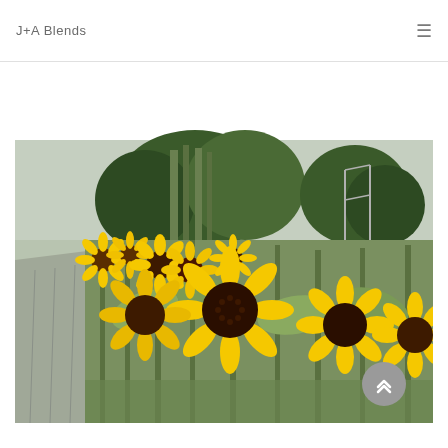J+A Blends
[Figure (photo): A field of bright yellow sunflowers in full bloom along a paved garden path, with trees and a metal structure visible in the background under an overcast sky.]